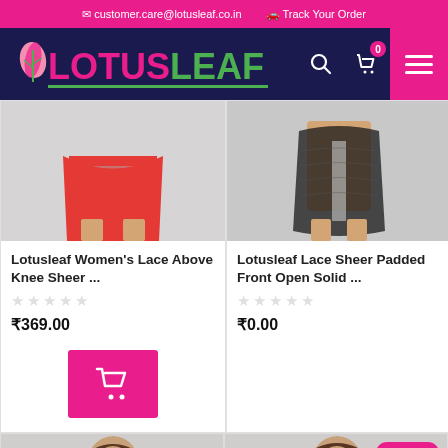customer.care@lotusleaf.co.in   Track Your Order
[Figure (logo): LotusLeaf logo with pink and green text on dark navy background, with search, cart and menu icons]
[Figure (photo): Woman wearing red above-knee skirt/shorts on grey background]
[Figure (photo): Woman wearing black lace sheer open front garment on grey background]
Lotusleaf Women's Lace Above Knee Sheer ...
Lotusleaf Lace Sheer Padded Front Open Solid ...
₹369.00
₹0.00
[Figure (photo): Bottom-left product card showing woman model, with Out of Stock badge and pink heart icon]
[Figure (photo): Bottom-right product card showing woman model, with 25% Off badge and pink heart icon]